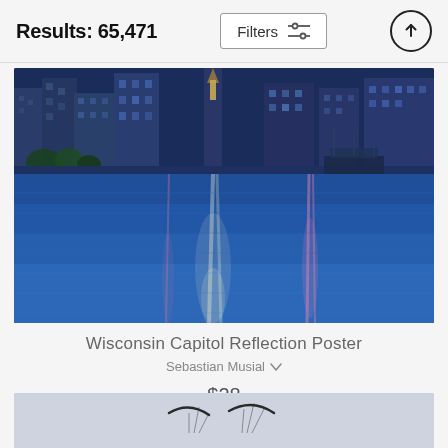Results: 65,471
Filters
[Figure (photo): City skyline at night reflected in a calm blue lake/water body, with colorful light reflections in the water]
Wisconsin Capitol Reflection Poster
Sebastian Musial
$28
[Figure (photo): Partial view of another image/poster at the bottom of the page, appears to show paragliders or similar shapes in a sky]